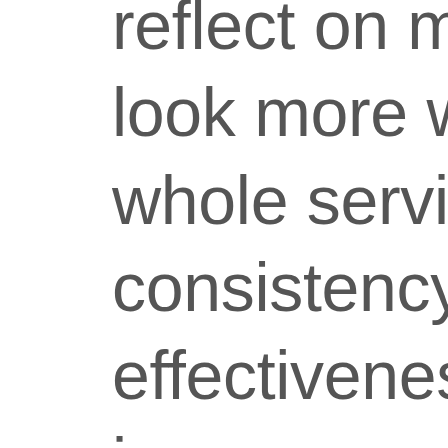reflect on my individua look more widely at the whole service explorin consistency, cohesion effectiveness for client is a very experienced facilitator, used a rang tools and reflective me the training interaction